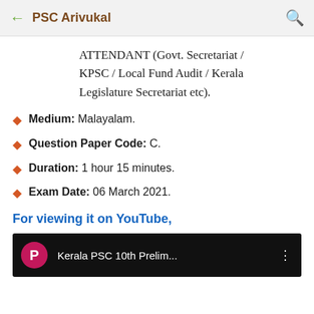← PSC Arivukal 🔍
ATTENDANT (Govt. Secretariat / KPSC / Local Fund Audit / Kerala Legislature Secretariat etc).
Medium: Malayalam.
Question Paper Code: C.
Duration: 1 hour 15 minutes.
Exam Date: 06 March 2021.
For viewing it on YouTube,
[Figure (screenshot): YouTube video thumbnail showing Kerala PSC 10th Prelim video with pink play button circle and dark background]